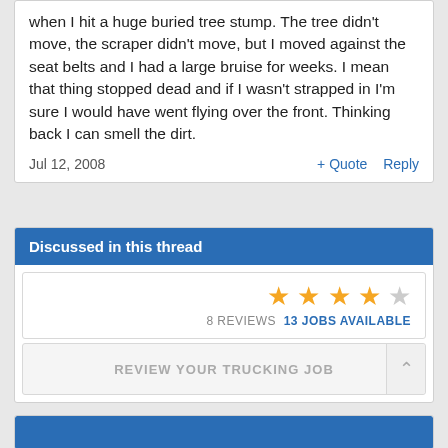when I hit a huge buried tree stump. The tree didn't move, the scraper didn't move, but I moved against the seat belts and I had a large bruise for weeks. I mean that thing stopped dead and if I wasn't strapped in I'm sure I would have went flying over the front. Thinking back I can smell the dirt.
Jul 12, 2008    + Quote   Reply
Discussed in this thread
[Figure (other): Star rating: 4 out of 5 gold stars, with text '8 REVIEWS 13 JOBS AVAILABLE']
REVIEW YOUR TRUCKING JOB